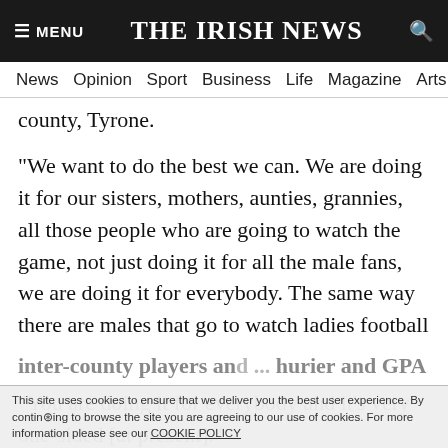≡ MENU  THE IRISH NEWS  🔍
News  Opinion  Sport  Business  Life  Magazine  Arts
county, Tyrone.
"We want to do the best we can. We are doing it for our sisters, mothers, aunties, grannies, all those people who are going to watch the game, not just doing it for all the male fans, we are doing it for everybody. The same way there are males that go to watch ladies football and Gemma.
"You are doing it for everybody and it's very one-sided [at present]."
This site uses cookies to ensure that we deliver you the best user experience. By continuing to browse the site you are agreeing to our use of cookies. For more information please see our COOKIE POLICY
inter-county players and ... hurier and GPA